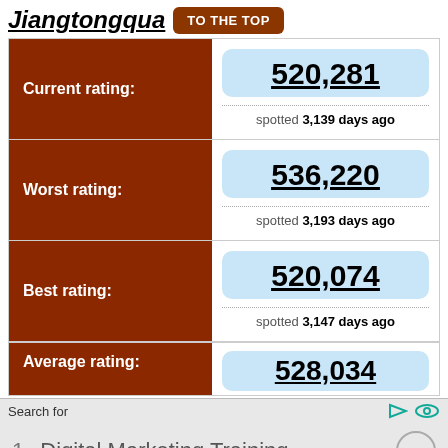Jiangtongqua TO THE TOP
| Label | Value | Spotted |
| --- | --- | --- |
| Current rating: | 520,281 | spotted 3,139 days ago |
| Worst rating: | 536,220 | spotted 3,193 days ago |
| Best rating: | 520,074 | spotted 3,147 days ago |
| Average rating: | 528,034 |  |
Search for
1. Digital Marketing Training
Top Digital Marketing Software Online